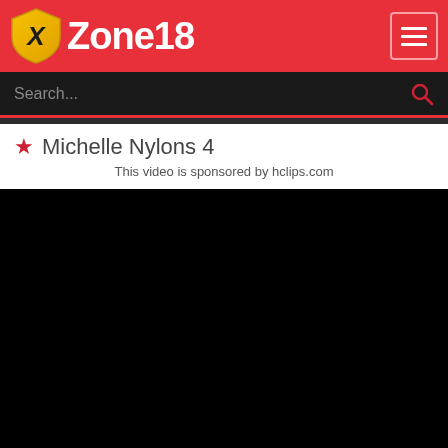Zone18
Search...
★ Michelle Nylons 4
This video is sponsored by hclips.com
[Figure (other): Black video player area]